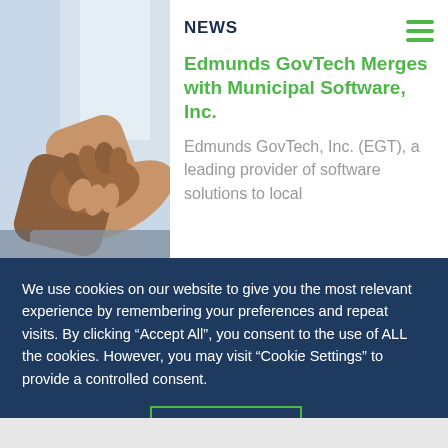[Figure (photo): Close-up photograph of two people shaking hands, with a blurred bright window background.]
NEWS
Edmunds GovTech Merges with Municipal Software, Inc.
Edmunds GovTech, Inc. (EGT), a leading provider of software solutions to local
We use cookies on our website to give you the most relevant experience by remembering your preferences and repeat visits. By clicking “Accept All”, you consent to the use of ALL the cookies. However, you may visit “Cookie Settings” to provide a controlled consent.
Cookie Settings
Accept All